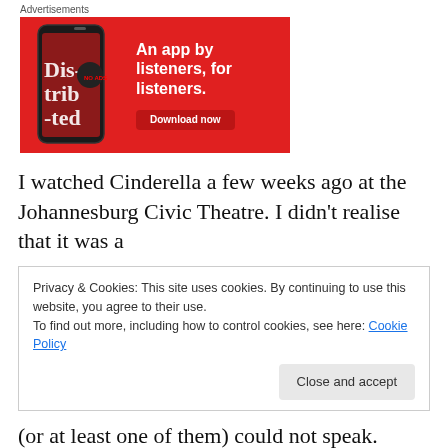[Figure (other): Red advertisement banner for a podcast/audio app reading 'An app by listeners, for listeners.' with a phone mockup showing 'Distributed' text and a Download now button]
I watched Cinderella a few weeks ago at the Johannesburg Civic Theatre. I didn't realise that it was a
Privacy & Cookies: This site uses cookies. By continuing to use this website, you agree to their use.
To find out more, including how to control cookies, see here: Cookie Policy
Close and accept
(or at least one of them) could not speak. Unlike me, in